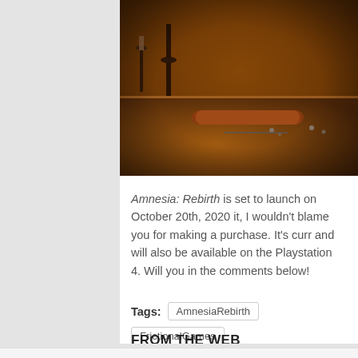[Figure (photo): Screenshot from Amnesia: Rebirth game showing dark antique room with candle holder, old scrolls, and wooden furniture in warm orange/amber lighting]
Amnesia: Rebirth is set to launch on October 20th, 2020 it, I wouldn't blame you for making a purchase. It's curr and will also be available on the Playstation 4. Will you in the comments below!
Tags: AmnesiaRebirth FrictionalGames
FROM THE WEB
[Figure (photo): Close-up photo of a person's face with brown hair, partially visible]